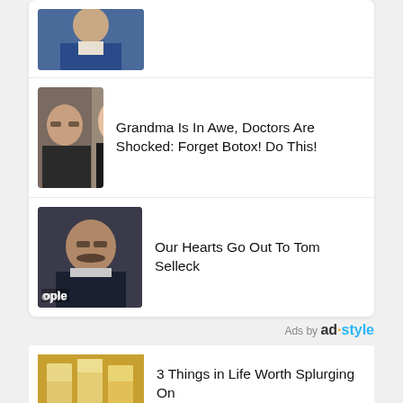[Figure (photo): Photo of person in blue suit at the top, partially cropped]
[Figure (photo): Side-by-side before/after photos of an older woman and a younger-looking woman]
Grandma Is In Awe, Doctors Are Shocked: Forget Botox! Do This!
[Figure (photo): Photo of Tom Selleck looking serious, with 'ople' (People magazine) watermark]
Our Hearts Go Out To Tom Selleck
Ads by ad·style
[Figure (photo): Photo of drinks/glasses at the bottom]
3 Things in Life Worth Splurging On